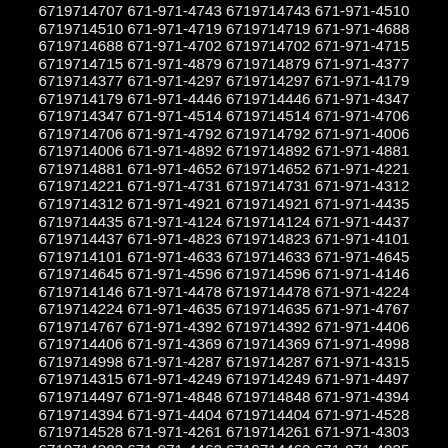6719714707 671-971-4743 6719714743 671-971-4510
6719714510 671-971-4719 6719714719 671-971-4688
6719714688 671-971-4702 6719714702 671-971-4715
6719714715 671-971-4879 6719714879 671-971-4377
6719714377 671-971-4297 6719714297 671-971-4179
6719714179 671-971-4446 6719714446 671-971-4347
6719714347 671-971-4514 6719714514 671-971-4706
6719714706 671-971-4792 6719714792 671-971-4006
6719714006 671-971-4892 6719714892 671-971-4881
6719714881 671-971-4652 6719714652 671-971-4221
6719714221 671-971-4731 6719714731 671-971-4312
6719714312 671-971-4921 6719714921 671-971-4435
6719714435 671-971-4124 6719714124 671-971-4437
6719714437 671-971-4823 6719714823 671-971-4101
6719714101 671-971-4633 6719714633 671-971-4645
6719714645 671-971-4596 6719714596 671-971-4146
6719714146 671-971-4478 6719714478 671-971-4224
6719714224 671-971-4635 6719714635 671-971-4767
6719714767 671-971-4392 6719714392 671-971-4406
6719714406 671-971-4369 6719714369 671-971-4998
6719714998 671-971-4287 6719714287 671-971-4315
6719714315 671-971-4249 6719714249 671-971-4497
6719714497 671-971-4848 6719714848 671-971-4394
6719714394 671-971-4404 6719714404 671-971-4528
6719714528 671-971-4261 6719714261 671-971-4303
6719714303 671-971-4462 6719714462 671-971-4025